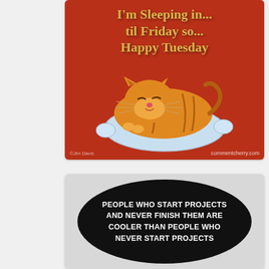[Figure (illustration): Garfield the cat sleeping on a pillow on a red background. Text reads: I'm Sleeping in... til Friday so... Happy Tuesday. Watermark: commentcherry.com. Copyright: Jim Davis.]
[Figure (illustration): A light grey square card with a large black oval/ellipse shape containing white bold text: PEOPLE WHO START PROJECTS AND NEVER FINISH THEM ARE COOLER THAN PEOPLE WHO NEVER START PROJECTS]